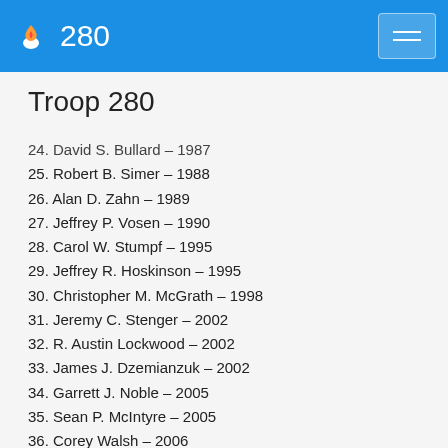280
Troop 280
24. David S. Bullard – 1987
25. Robert B. Simer – 1988
26. Alan D. Zahn – 1989
27. Jeffrey P. Vosen – 1990
28. Carol W. Stumpf – 1995
29. Jeffrey R. Hoskinson – 1995
30. Christopher M. McGrath – 1998
31. Jeremy C. Stenger – 2002
32. R. Austin Lockwood – 2002
33. James J. Dzemianzuk – 2002
34. Garrett J. Noble – 2005
35. Sean P. McIntyre – 2005
36. Corey Walsh – 2006
37. Andrew C. Lehoe  - 2007
38. Benjamin C. Marion – 2007